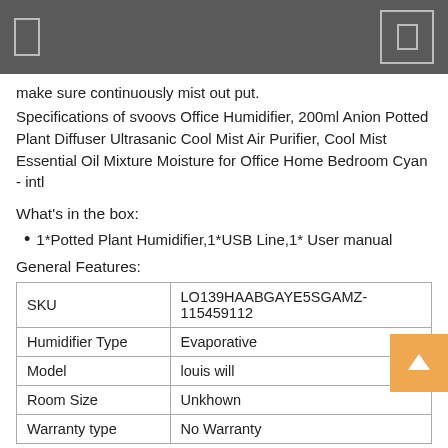make sure continuously mist out put.
Specifications of svoovs Office Humidifier, 200ml Anion Potted Plant Diffuser Ultrasanic Cool Mist Air Purifier, Cool Mist Essential Oil Mixture Moisture for Office Home Bedroom Cyan - intl
What's in the box:
1*Potted Plant Humidifier,1*USB Line,1* User manual
General Features:
| SKU | LO139HAABGAYE5SGAMZ-115459112 |
| --- | --- |
| Humidifier Type | Evaporative |
| Model | louis will |
| Room Size | Unkhown |
| Warranty type | No Warranty |
Official delivery unit